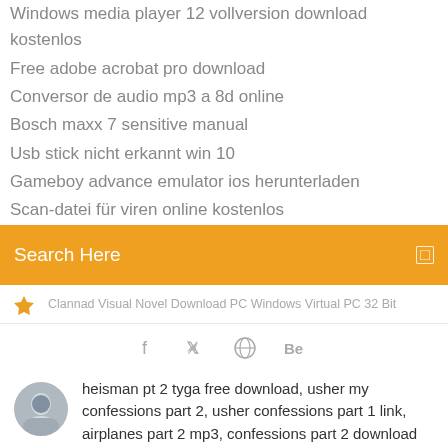Windows media player 12 vollversion download kostenlos
Free adobe acrobat pro download
Conversor de audio mp3 a 8d online
Bosch maxx 7 sensitive manual
Usb stick nicht erkannt win 10
Gameboy advance emulator ios herunterladen
Scan-datei für viren online kostenlos
Search Here
Clannad Visual Novel Download PC Windows Virtual PC 32 Bit
[Figure (infographic): Social media icons: Facebook, Twitter, dribbble/globe, Behance]
heisman pt 2 tyga free download, usher my confessions part 2, usher confessions part 1 link, airplanes part 2 mp3, confessions part 2 download usher
cialis barato en el df - Stránky 3 - Wakeboard forum